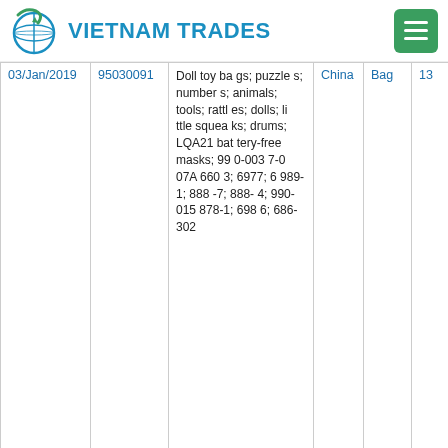VIETNAM TRADES
| Date | HS Code | Description | Country | Unit | Qty |
| --- | --- | --- | --- | --- | --- |
| 03/Jan/2019 | 95030091 | Doll toy bags; puzzles; numbers; animals; tools; rattles; dolls; little squeaks; drums; LQA21 battery-free masks; 990-003 7-007A 660 3; 6977; 6989-1; 888-7; 888-4; 990-015 878-1; 698 6; 686-302 | China | Bag | 13 |